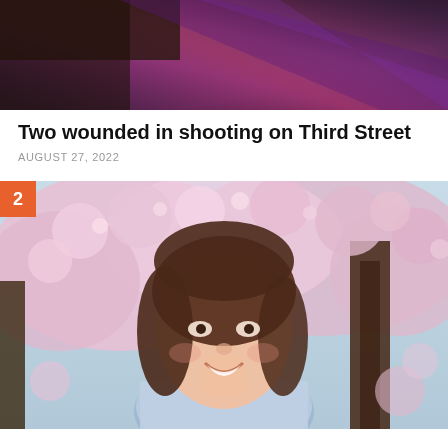[Figure (photo): Dark scene photo at top of page showing purple/dark lighting, likely a crime scene or night scene]
Two wounded in shooting on Third Street
AUGUST 27, 2022
[Figure (photo): Young woman with brown hair smiling in front of cherry blossom trees, with an orange badge showing number 2 in the top-left corner]